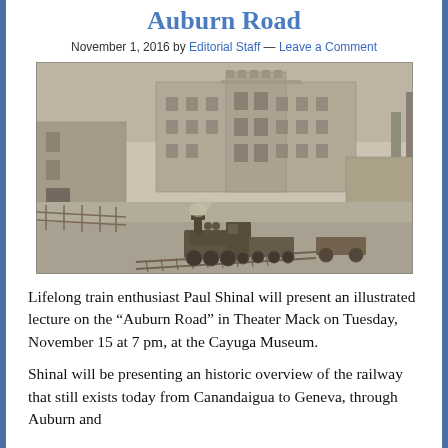Auburn Road
November 1, 2016 by Editorial Staff — Leave a Comment
[Figure (photo): Historic black and white photograph showing a steam locomotive in the foreground with a large multi-story castle-like building in the background, likely a 19th century scene along the Auburn Road railway.]
Lifelong train enthusiast Paul Shinal will present an illustrated lecture on the “Auburn Road” in Theater Mack on Tuesday, November 15 at 7 pm, at the Cayuga Museum.
Shinal will be presenting an historic overview of the railway that still exists today from Canandaigua to Geneva, through Auburn and